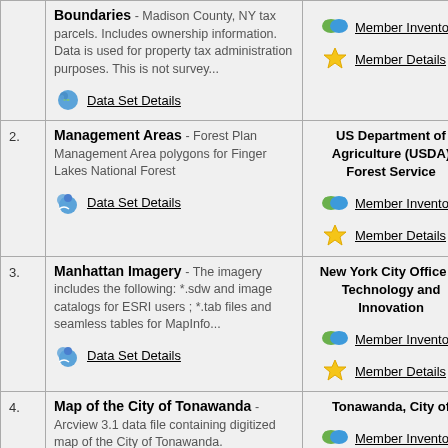Boundaries - Madison County, NY tax parcels. Includes ownership information. Data is used for property tax administration purposes. This is not survey... Data Set Details
Member Inventory
Member Details
2. Management Areas - Forest Plan Management Area polygons for Finger Lakes National Forest. Data Set Details
US Department of Agriculture (USDA) Forest Service
Member Inventory
Member Details
3. Manhattan Imagery - The imagery includes the following: *.sdw and image catalogs for ESRI users ; *.tab files and seamless tables for MapInfo... Data Set Details
New York City Office of Technology and Innovation
Member Inventory
Member Details
4. Map of the City of Tonawanda - Arcview 3.1 data file containing digitized map of the City of Tonawanda.
Tonawanda, City of
Member Inventory